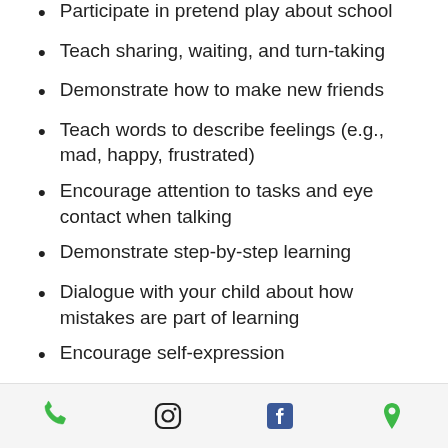Participate in pretend play about school
Teach sharing, waiting, and turn-taking
Demonstrate how to make new friends
Teach words to describe feelings (e.g., mad, happy, frustrated)
Encourage attention to tasks and eye contact when talking
Demonstrate step-by-step learning
Dialogue with your child about how mistakes are part of learning
Encourage self-expression
Phone | Instagram | Facebook | Location